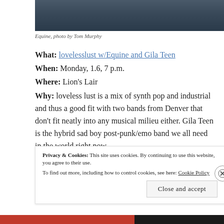[Figure (photo): Partial photo of Equine, showing cables/wires in background, dark tones]
Equine, photo by Tom Murphy
What: lovelesslust w/Equine and Gila Teen
When: Monday, 1.6, 7 p.m.
Where: Lion's Lair
Why: loveless lust is a mix of synth pop and industrial and thus a good fit with two bands from Denver that don't fit neatly into any musical milieu either. Gila Teen is the hybrid sad boy post-punk/emo band we all need in the world right now.
Privacy & Cookies: This site uses cookies. By continuing to use this website, you agree to their use. To find out more, including how to control cookies, see here: Cookie Policy